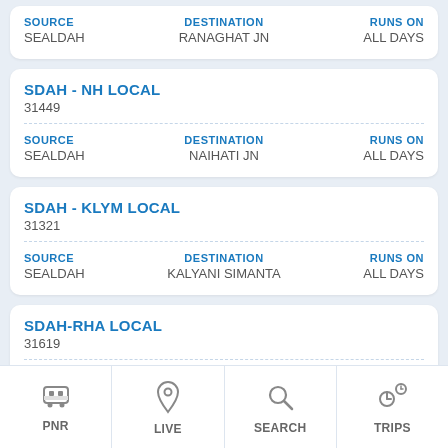SOURCE: SEALDAH | DESTINATION: RANAGHAT JN | RUNS ON: ALL DAYS
SDAH - NH LOCAL
31449
SOURCE: SEALDAH | DESTINATION: NAIHATI JN | RUNS ON: ALL DAYS
SDAH - KLYM LOCAL
31321
SOURCE: SEALDAH | DESTINATION: KALYANI SIMANTA | RUNS ON: ALL DAYS
SDAH-RHA LOCAL
31619
SOURCE: SEALDAH | DESTINATION: RANAGHAT JN | RUNS ON: MON, TUE, WED, THU, FRI
SDAH-DE LOCAL (partial)
PNR | LIVE | SEARCH | TRIPS